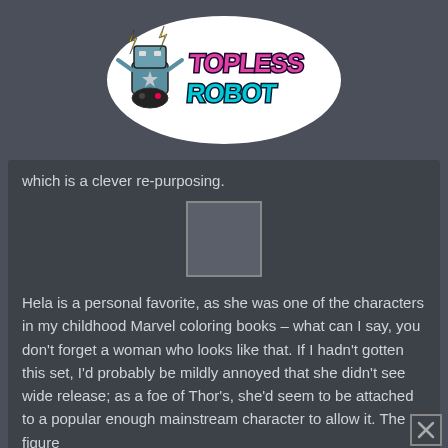[Figure (logo): Topless Robot logo — a cartoon robot character holding a gamepad with lightning bolts, alongside stylized pink and cyan 'TOPLESS ROBOT' text on a white sticker-style background]
which is a clever re-purposing.
[Figure (photo): Small image placeholder box (image failed to load or is missing)]
Hela is a personal favorite, as she was one of the characters in my childhood Marvel coloring books – what can I say, you don't forget a woman who looks like that. If I hadn't gotten this set, I'd probably be mildly annoyed that she didn't see wide release; as a foe of Thor's, she'd seem to be attached to a popular enough mainstream character to allow it. The figure